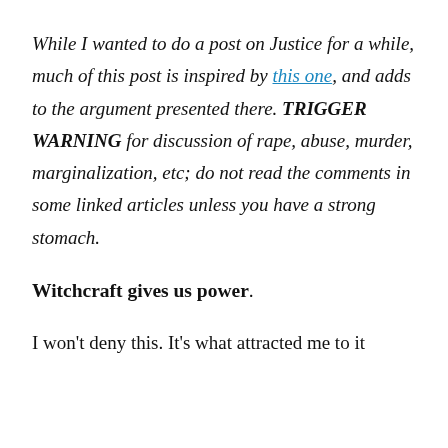While I wanted to do a post on Justice for a while, much of this post is inspired by this one, and adds to the argument presented there. TRIGGER WARNING for discussion of rape, abuse, murder, marginalization, etc; do not read the comments in some linked articles unless you have a strong stomach.
Witchcraft gives us power.
I won't deny this. It's what attracted me to it